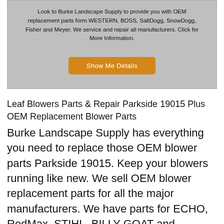Look to Burke Landscape Supply to provide you with OEM replacement parts form WESTERN, BOSS, SaltDogg, SnowDogg, Fisher and Meyer. We service and repair all manufacturers. Click for More Information.
Show Me Details
Leaf Blowers Parts & Repair Parkside 19015 Plus OEM Replacement Blower Parts
Burke Landscape Supply has everything you need to replace those OEM blower parts Parkside 19015. Keep your blowers running like new. We sell OEM blower replacement parts for all the major manufacturers. We have parts for ECHO, RedMax, STIHL, BILLY GOAT and